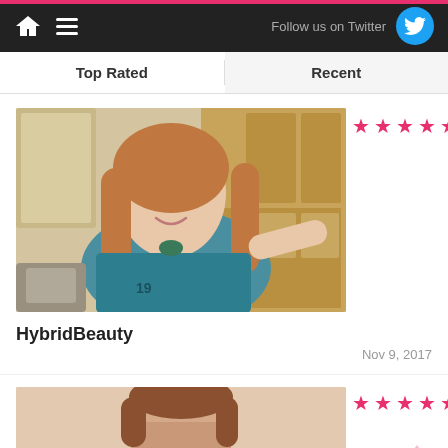Follow us on Twitter
Top Rated
Recent
[Figure (photo): Young woman with long red wavy hair wearing a teal blue t-shirt with '19' text, smiling at camera, indoor bedroom setting with wooden wardrobe]
HybridBeauty
Nov 9, 2017
[Figure (photo): Young woman with brown hair, partially visible, appears to be posing against a light-colored background]